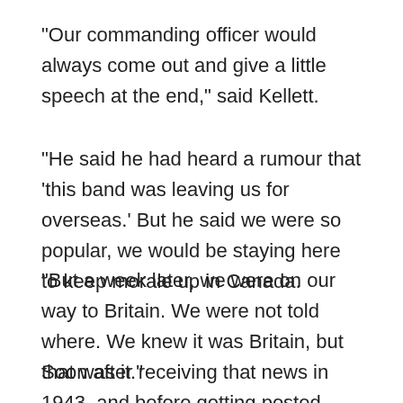“Our commanding officer would always come out and give a little speech at the end,” said Kellett.
“He said he had heard a rumour that ‘this band was leaving us for overseas.’ But he said we were so popular, we would be staying here to keep morale up in Canada.
“But a week later, we were on our way to Britain. We were not told where. We knew it was Britain, but that was it.”
Soon after receiving that news in 1943, and before getting posted overseas, Kellett married